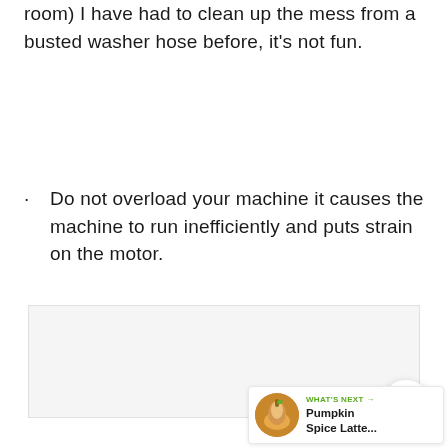room) I have had to clean up the mess from a busted washer hose before, it's not fun.
Do not overload your machine it causes the machine to run inefficiently and puts strain on the motor.
[Figure (other): Advertisement box placeholder with light gray background]
[Figure (other): Share button icon (circular white button with share/network icon)]
[Figure (other): What's Next promo widget showing Pumpkin Spice Latte... with circular food image]